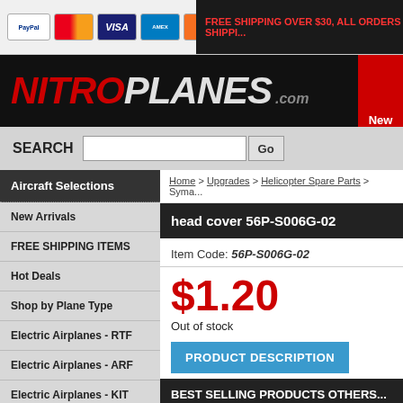FREE SHIPPING OVER $30, ALL ORDERS SHIPP...
[Figure (logo): NitroPlanes.com logo on black background]
SEARCH [input] Go
Aircraft Selections
New Arrivals
FREE SHIPPING ITEMS
Hot Deals
Shop by Plane Type
Electric Airplanes - RTF
Electric Airplanes - ARF
Electric Airplanes - KIT
Nitro Gas RC Planes
RC UAV & Drones
Home > Upgrades > Helicopter Spare Parts > Syma...
head cover 56P-S006G-02
Item Code: 56P-S006G-02
$1.20
Out of stock
PRODUCT DESCRIPTION
BEST SELLING PRODUCTS OTHERS...